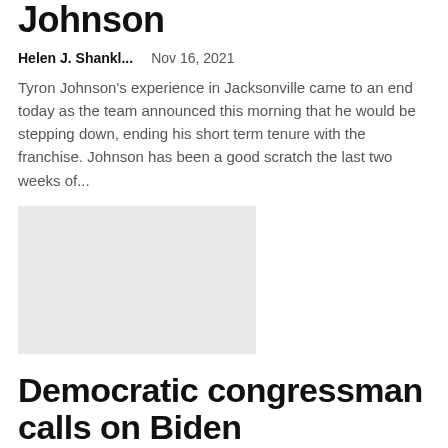Johnson
Helen J. Shankl...    Nov 16, 2021
Tyron Johnson's experience in Jacksonville came to an end today as the team announced this morning that he would be stepping down, ending his short term tenure with the franchise. Johnson has been a good scratch the last two weeks of...
[Figure (photo): Gray placeholder image for article thumbnail]
Democratic congressman calls on Biden administration to reinstate Texas Medicaid